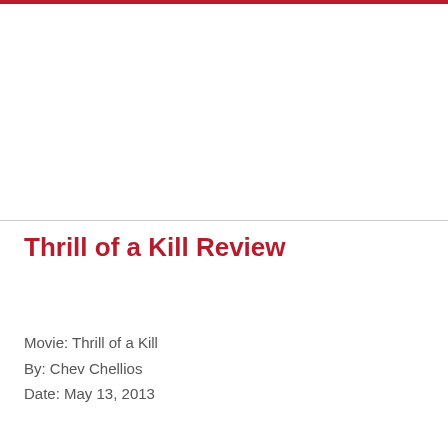Thrill of a Kill Review
Movie: Thrill of a Kill
By: Chev Chellios
Date: May 13, 2013